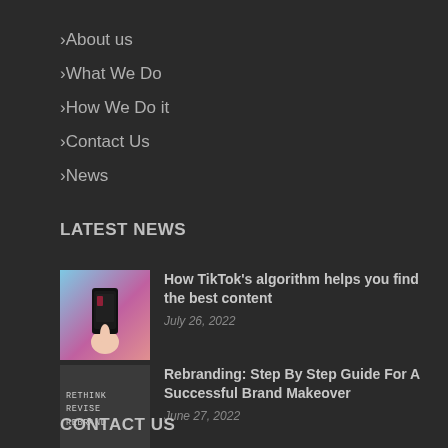About us
What We Do
How We Do it
Contact Us
News
LATEST NEWS
[Figure (photo): Hand holding a smartphone with a dark screen, pink and blue background]
How TikTok’s algorithm helps you find the best content
July 26, 2022
[Figure (photo): Black keyboard keys spelling RETHINK REVISE REBRAND on a light background]
Rebranding: Step By Step Guide For A Successful Brand Makeover
June 27, 2022
CONTACT US